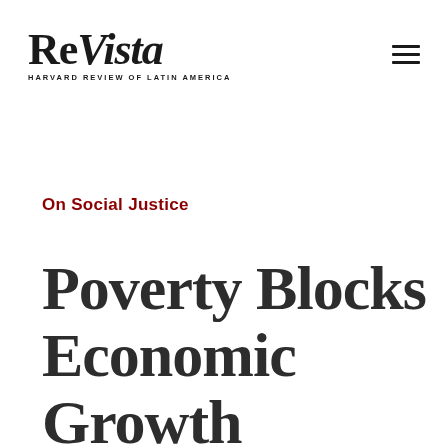ReVista — HARVARD REVIEW OF LATIN AMERICA
On Social Justice
Poverty Blocks Economic Growth